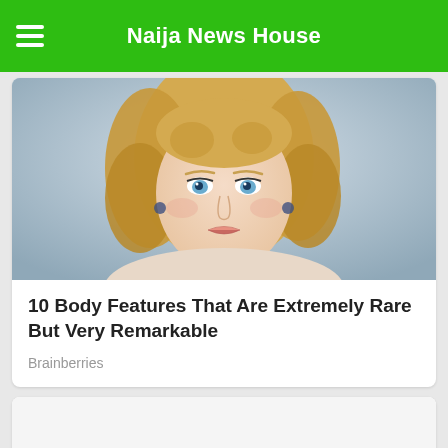Naija News House
[Figure (photo): Portrait of a young woman with curly blonde hair and blue eyes]
10 Body Features That Are Extremely Rare But Very Remarkable
Brainberries
[Figure (photo): Second article image, mostly white/blank]
Can People Pilates When Worked At...